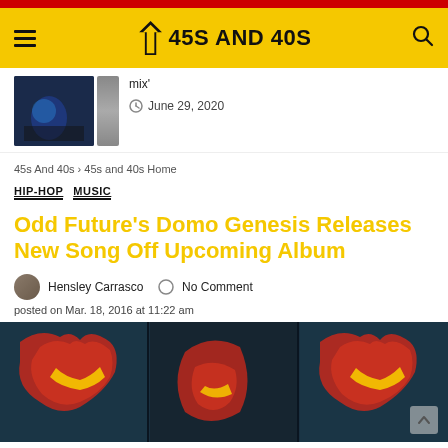45S AND 40S
mix'
June 29, 2020
45s And 40s > 45s and 40s Home
HIP-HOP   MUSIC
Odd Future's Domo Genesis Releases New Song Off Upcoming Album
Hensley Carrasco   No Comment
posted on Mar. 18, 2016 at 11:22 am
[Figure (photo): Article cover image showing decorative artwork with red snake/dragon motifs on dark teal background, repeated in a triptych layout]